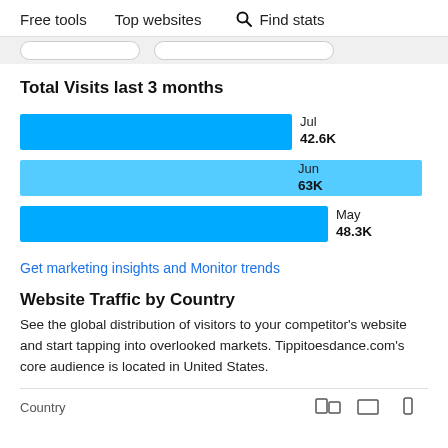Free tools   Top websites   Find stats
Total Visits last 3 months
[Figure (bar-chart): Total Visits last 3 months]
Get marketing insights and Monitor trends
Website Traffic by Country
See the global distribution of visitors to your competitor's website and start tapping into overlooked markets. Tippitoesdance.com's core audience is located in United States.
| Country |  |  |  |
| --- | --- | --- | --- |